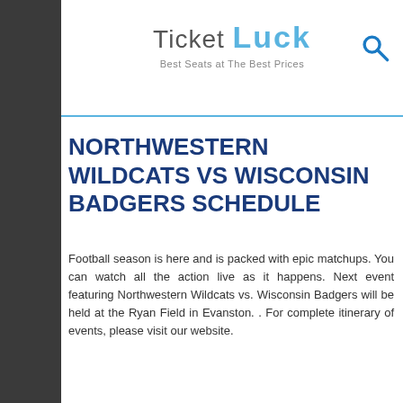TicketLuck — Best Seats at The Best Prices
NORTHWESTERN WILDCATS VS WISCONSIN BADGERS SCHEDULE
Football season is here and is packed with epic matchups. You can watch all the action live as it happens. Next event featuring Northwestern Wildcats vs. Wisconsin Badgers will be held at the Ryan Field in Evanston. . For complete itinerary of events, please visit our website.
| Field | Value |
| --- | --- |
| Event: | Northwestern Wildcats vs. Wisconsin Badgers |
| Venue: |  |
| City: | Evanston, IL |
View all Tickets